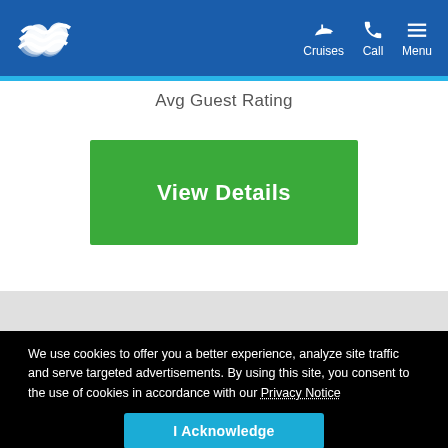Cruises  Call  Menu
Avg Guest Rating
View Details
We use cookies to offer you a better experience, analyze site traffic and serve targeted advertisements. By using this site, you consent to the use of cookies in accordance with our Privacy Notice
I Acknowledge